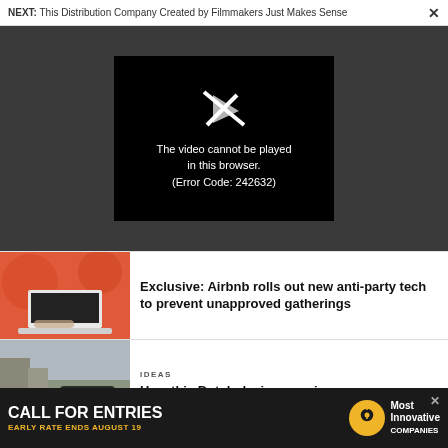NEXT: This Distribution Company Created by Filmmakers Just Makes Sense
[Figure (screenshot): Video player showing error: The video cannot be played in this browser. (Error Code: 242632)]
Exclusive: Airbnb rolls out new anti-party tech to prevent unapproved gatherings
IDEAS
How this Dutch design convinces
[Figure (infographic): Advertisement: CALL FOR ENTRIES, EARLY RATE ENDS AUGUST 19, Most Innovative Companies]